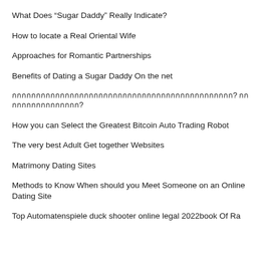What Does “Sugar Daddy” Really Indicate?
How to locate a Real Oriental Wife
Approaches for Romantic Partnerships
Benefits of Dating a Sugar Daddy On the net
฀฀฀฀฀฀฀฀฀฀฀฀฀฀฀฀฀฀฀฀฀฀฀฀฀฀฀฀฀฀฀฀฀฀฀฀฀฀฀฀฀฀฀฀฀฀? ฀฀฀฀฀฀฀฀฀฀฀฀฀฀฀฀?
How you can Select the Greatest Bitcoin Auto Trading Robot
The very best Adult Get together Websites
Matrimony Dating Sites
Methods to Know When should you Meet Someone on an Online Dating Site
Top Automatenspiele duck shooter online legal 2022book Of Ra